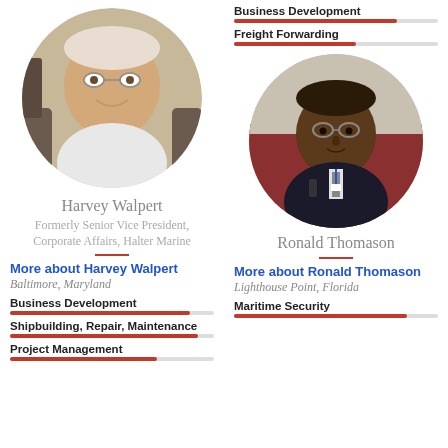[Figure (photo): Circular headshot of Harvey Walpert, an older white man with glasses, smiling, seated in an office chair]
Harvey Walpert
Formerly Senior Vice President, Corporate Affairs, Halter Marine
More about Harvey Walpert
Baltimore, Maryland
Business Development
Shipbuilding, Repair, Maintenance
Project Management
Business Development
Freight Forwarding
[Figure (photo): Circular headshot of Ronald Thomason, a Black man wearing glasses and a suit with a lanyard, seated at a conference table]
Ronald Thomason
More about Ronald Thomason
Lighthouse Point, Florida
Maritime Security